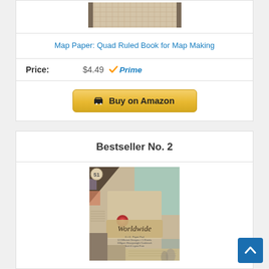[Figure (photo): Partial product image of a quad ruled book for map making - top portion visible]
Map Paper: Quad Ruled Book for Map Making
Price: $4.49 Prime
Buy on Amazon
Bestseller No. 2
[Figure (photo): Product image of Worldwide 6x6 Paper Pad with vintage map and letter designs]